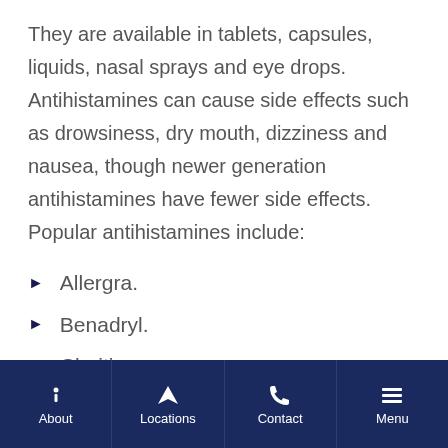They are available in tablets, capsules, liquids, nasal sprays and eye drops. Antihistamines can cause side effects such as drowsiness, dry mouth, dizziness and nausea, though newer generation antihistamines have fewer side effects. Popular antihistamines include:
Allergra.
Benadryl.
Claritin.
About | Locations | Contact | Menu